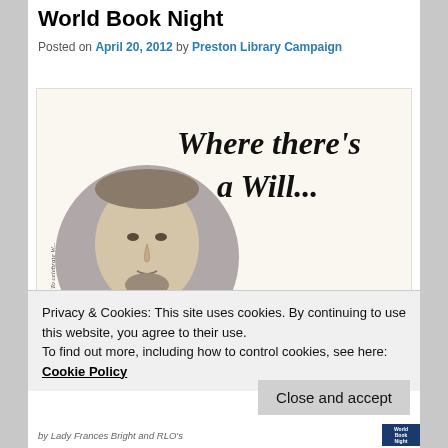World Book Night
Posted on April 20, 2012 by Preston Library Campaign
[Figure (illustration): Promotional image for World Book Night with Shakespeare portrait in a circle and calligraphic text 'Where there's a Will...' and 'April 23rd 2012' with time below]
Privacy & Cookies: This site uses cookies. By continuing to use this website, you agree to their use.
To find out more, including how to control cookies, see here: Cookie Policy
Close and accept
by Lady Frances Bright and RLO's